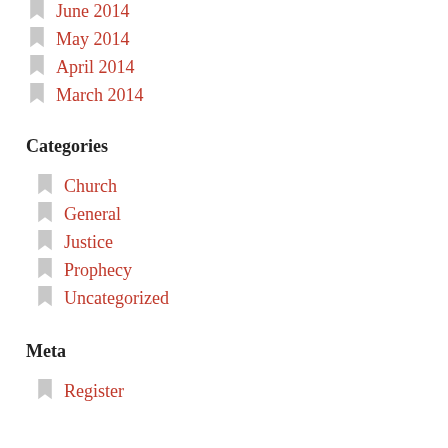June 2014
May 2014
April 2014
March 2014
Categories
Church
General
Justice
Prophecy
Uncategorized
Meta
Register